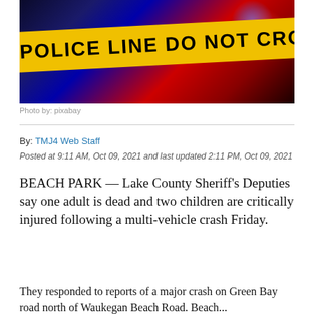[Figure (photo): Police line do not cross yellow tape against dark background with blue and red police lights]
Photo by: pixabay
By: TMJ4 Web Staff
Posted at 9:11 AM, Oct 09, 2021 and last updated 2:11 PM, Oct 09, 2021
BEACH PARK — Lake County Sheriff's Deputies say one adult is dead and two children are critically injured following a multi-vehicle crash Friday.
They responded to reports of a major crash on Green Bay road north of Waukegan Beach Road. Beach...